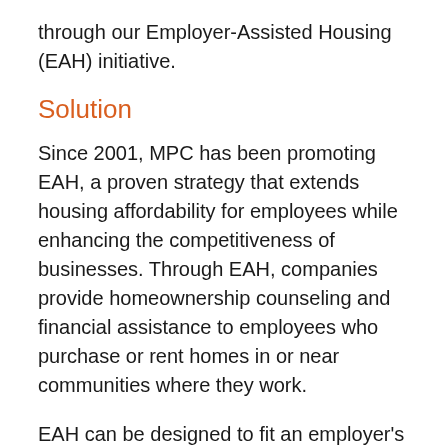through our Employer-Assisted Housing (EAH) initiative.
Solution
Since 2001, MPC has been promoting EAH, a proven strategy that extends housing affordability for employees while enhancing the competitiveness of businesses. Through EAH, companies provide homeownership counseling and financial assistance to employees who purchase or rent homes in or near communities where they work.
EAH can be designed to fit an employer's personnel objectives and budget. The cost to the employer varies based on the amount of financial assistance offered to employees, plus the costs of administration and housing counseling (which is provided by a HUD-certified agency). Special state incentives, including tax